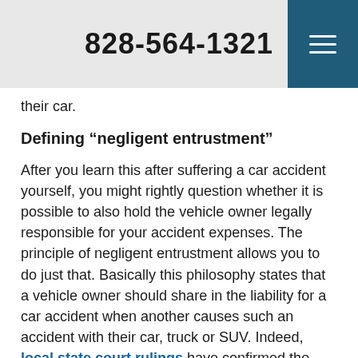828-564-1321
their car.
Defining “negligent entrustment”
After you learn this after suffering a car accident yourself, you might rightly question whether it is possible to also hold the vehicle owner legally responsible for your accident expenses. The principle of negligent entrustment allows you to do just that. Basically this philosophy states that a vehicle owner should share in the liability for a car accident when another causes such an accident with their car, truck or SUV. Indeed, local state court rulings have confirmed the North Carolina’s adherence to this principle, citing past car